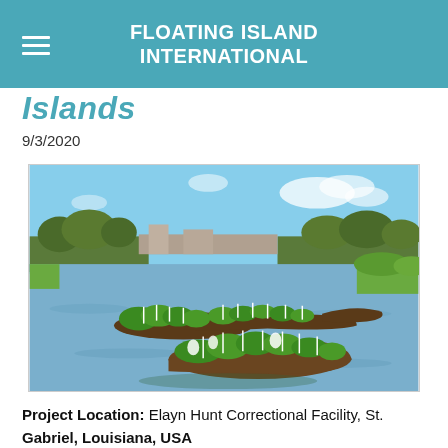FLOATING ISLAND INTERNATIONAL
Islands
9/3/2020
[Figure (photo): Aerial/ground-level photo of floating island structures planted with vegetation on a calm water body, with trees and buildings visible in the background under a partly cloudy blue sky. The floating islands are elongated rectangular rafts covered with green plants and white stakes, arranged in a connected pattern across the water.]
Project Location:  Elayn Hunt Correctional Facility, St. Gabriel, Louisiana, USA